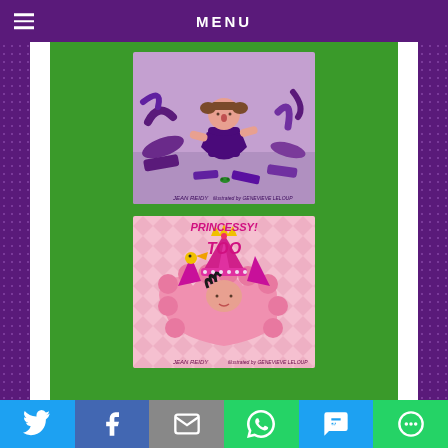MENU
[Figure (illustration): Book cover: purple-themed children's book showing a girl in a purple dress surrounded by flying purple fabric/clothing items. Text reads 'JEAN REIDY illustrated by GENEVIEVE LELOUP']
[Figure (illustration): Book cover: pink-themed children's book titled 'TOO PRINCESSY!' showing a princess character in pink costume with crown. Text reads 'JEAN REIDY illustrated by GENEVIEVE LELOUP']
Social share buttons: Twitter, Facebook, Email, WhatsApp, SMS, More